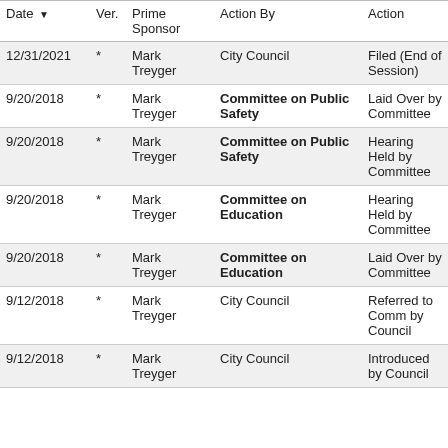| Date ▼ | Ver. | Prime Sponsor | Action By | Action |
| --- | --- | --- | --- | --- |
| 12/31/2021 | * | Mark Treyger | City Council | Filed (End of Session) |
| 9/20/2018 | * | Mark Treyger | Committee on Public Safety | Laid Over by Committee |
| 9/20/2018 | * | Mark Treyger | Committee on Public Safety | Hearing Held by Committee |
| 9/20/2018 | * | Mark Treyger | Committee on Education | Hearing Held by Committee |
| 9/20/2018 | * | Mark Treyger | Committee on Education | Laid Over by Committee |
| 9/12/2018 | * | Mark Treyger | City Council | Referred to Comm by Council |
| 9/12/2018 | * | Mark Treyger | City Council | Introduced by Council |